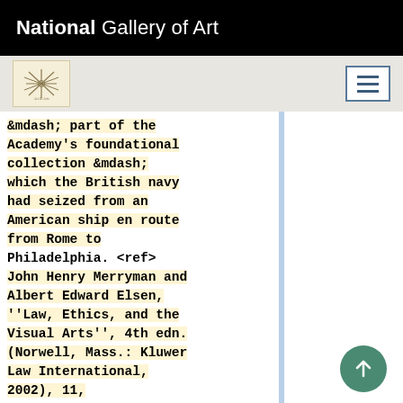National Gallery of Art
[Figure (logo): Small circular starburst/asterisk logo for National Gallery of Art on beige background]
&mdash; part of the Academy’s foundational collection &mdash; which the British navy had seized from an American ship en route from Rome to Philadelphia. <ref> John Henry Merryman and Albert Edward Elsen, ''Law, Ethics, and the Visual Arts'', 4th edn. (Norwell, Mass.: Kluwer Law International, 2002), 11, [https://www.zotero.org/groups/54737/items/itemKey/47OR33PW view on